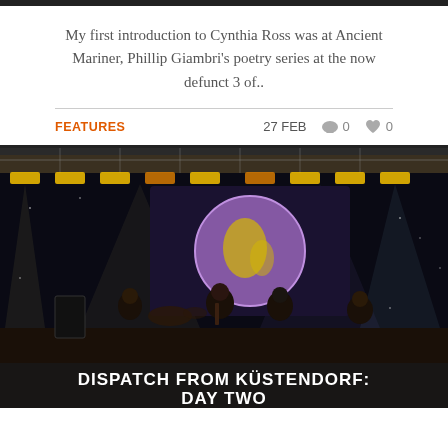My first introduction to Cynthia Ross was at Ancient Mariner, Phillip Giambri's poetry series at the now defunct 3 of..
FEATURES   27 FEB   0   0
[Figure (photo): Concert stage photo showing a band performing under dramatic stage lighting with spotlights, truss rigging, and a large projection screen showing a moon/globe image. Multiple musicians visible on stage.]
DISPATCH FROM KÜSTENDORF: DAY TWO